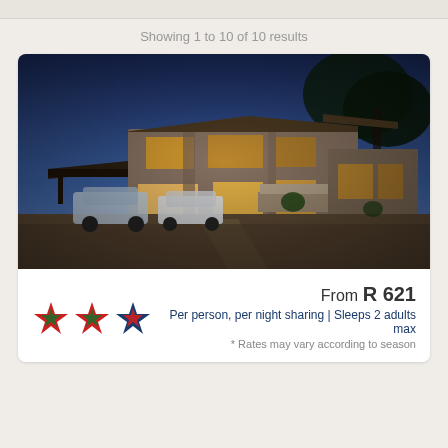Showing 1 to 10 of 10 results
[Figure (photo): Exterior night photo of a two-storey guesthouse or hotel with warm interior lights glowing through windows, cars parked in front, palm trees visible, dusk sky in background.]
From R 621
Per person, per night sharing | Sleeps 2 adults max
* Rates may vary according to season